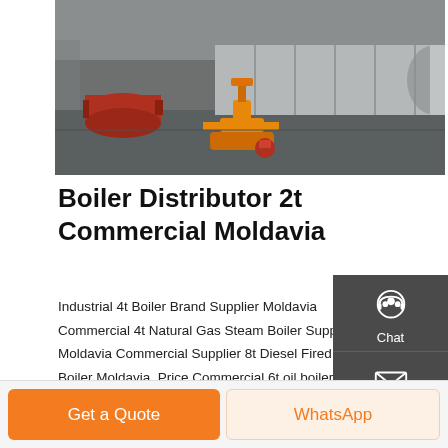[Figure (photo): Industrial boiler equipment in a factory or warehouse setting, showing large cylindrical boiler tanks and orange-colored fittings/burner components on the ground]
Boiler Distributor 2t Commercial Moldavia
Industrial 4t Boiler Brand Supplier Moldavia Commercial 4t Natural Gas Steam Boiler Supplier Moldavia Commercial Supplier 8t Diesel Fired Steam Boiler Moldavia. Price Commercial 6t oil boiler Azerbaijan. 1T Distributor Industrial Boiler Turkey. Fully Automatic 6
[Figure (infographic): Sidebar widget with dark grey background showing three contact options: Chat (with headset icon), Email (with envelope icon), Contact (with speech bubble icon), each separated by a red line]
Get a quote
Get a Quote
WhatsApp